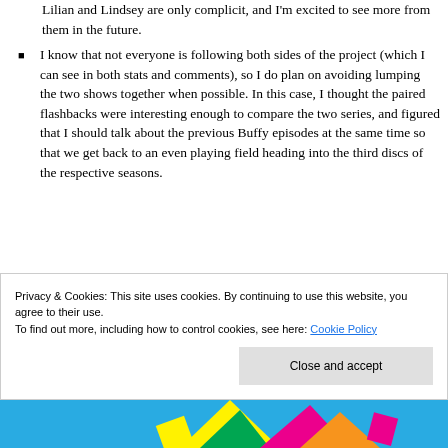Lilian and Lindsey are only complicit, and I'm excited to see more from them in the future.
I know that not everyone is following both sides of the project (which I can see in both stats and comments), so I do plan on avoiding lumping the two shows together when possible. In this case, I thought the paired flashbacks were interesting enough to compare the two series, and figured that I should talk about the previous Buffy episodes at the same time so that we get back to an even playing field heading into the third discs of the respective seasons.
Privacy & Cookies: This site uses cookies. By continuing to use this website, you agree to their use.
To find out more, including how to control cookies, see here: Cookie Policy
[Figure (illustration): Colorful bottom banner image with geometric shapes in blue, yellow, green, and pink on a blue background]